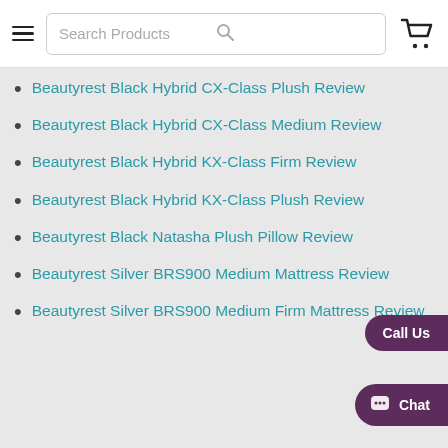Search Products
Beautyrest Black Hybrid CX-Class Plush Review
Beautyrest Black Hybrid CX-Class Medium Review
Beautyrest Black Hybrid KX-Class Firm Review
Beautyrest Black Hybrid KX-Class Plush Review
Beautyrest Black Natasha Plush Pillow Review
Beautyrest Silver BRS900 Medium Mattress Review
Beautyrest Silver BRS900 Medium Firm Mattress Review